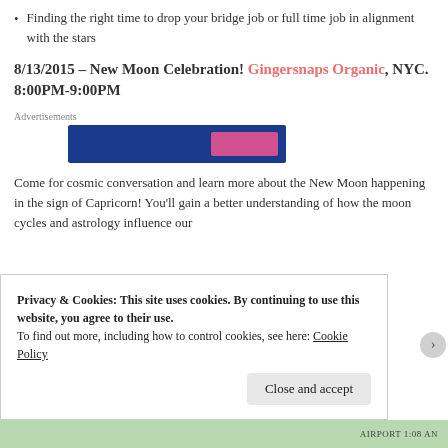Finding the right time to drop your bridge job or full time job in alignment with the stars
8/13/2015 – New Moon Celebration! Gingersnaps Organic, NYC. 8:00PM-9:00PM
[Figure (other): Advertisements banner with dark blue background and pink button element]
Come for cosmic conversation and learn more about the New Moon happening in the sign of Capricorn! You'll gain a better understanding of how the moon cycles and astrology influence our
Privacy & Cookies: This site uses cookies. By continuing to use this website, you agree to their use.
To find out more, including how to control cookies, see here: Cookie Policy
Close and accept